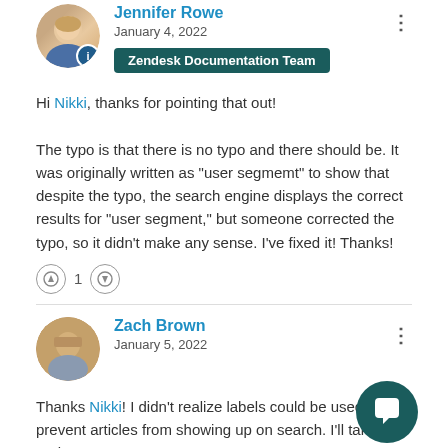Jennifer Rowe
January 4, 2022
Zendesk Documentation Team
Hi Nikki, thanks for pointing that out!

The typo is that there is no typo and there should be. It was originally written as "user segmemt" to show that despite the typo, the search engine displays the correct results for "user segment," but someone corrected the typo, so it didn't make any sense. I've fixed it! Thanks!
1
Zach Brown
January 5, 2022
Thanks Nikki! I didn't realize labels could be used to prevent articles from showing up on search. I'll take it under